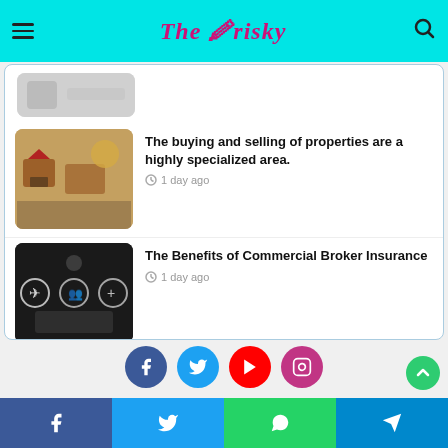The Frisky — navigation header with logo
About the Consumer Price Index
[Figure (photo): Partial thumbnail image visible at top of card (scrolled)]
The buying and selling of properties are a highly specialized area.
1 day ago
The Benefits of Commercial Broker Insurance
1 day ago
3 Different Ways to Market Your Company
3 days ago
Social share buttons: Facebook, Twitter, WhatsApp, Telegram